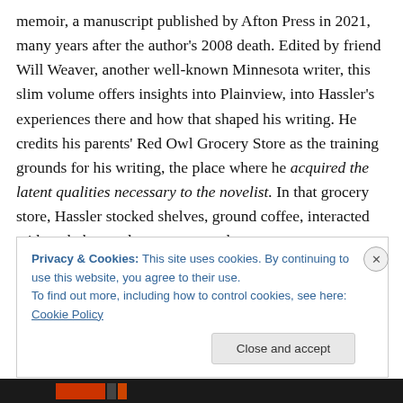memoir, a manuscript published by Afton Press in 2021, many years after the author's 2008 death. Edited by friend Will Weaver, another well-known Minnesota writer, this slim volume offers insights into Plainview, into Hassler's experiences there and how that shaped his writing. He credits his parents' Red Owl Grocery Store as the training grounds for his writing, the place where he acquired the latent qualities necessary to the novelist. In that grocery store, Hassler stocked shelves, ground coffee, interacted with and observed customers, and more.
Privacy & Cookies: This site uses cookies. By continuing to use this website, you agree to their use. To find out more, including how to control cookies, see here: Cookie Policy